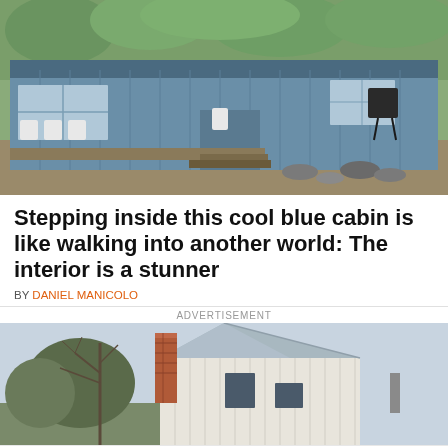[Figure (photo): Exterior of a blue wooden cabin with a deck, white plastic chairs, steps leading to a door, and a grill, surrounded by trees and rocks]
Stepping inside this cool blue cabin is like walking into another world: The interior is a stunner
BY DANIEL MANICOLO
ADVERTISEMENT
[Figure (photo): Exterior of a white vertical board and batten farmhouse with a metal roof, brick chimney, and bare trees]
© CountryPolish   About Ads   Terms   Privacy   Do Not Sell My Info